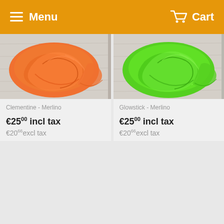Menu  Cart
[Figure (photo): Orange yarn/wool skein on a light wooden background - Clementine Merlino product]
Clementine - Merlino
€25.00 incl tax
€20.66 excl tax
[Figure (photo): Bright green yarn/wool skein on a light wooden background - Glowstick Merlino product]
Glowstick - Merlino
€25.00 incl tax
€20.66 excl tax